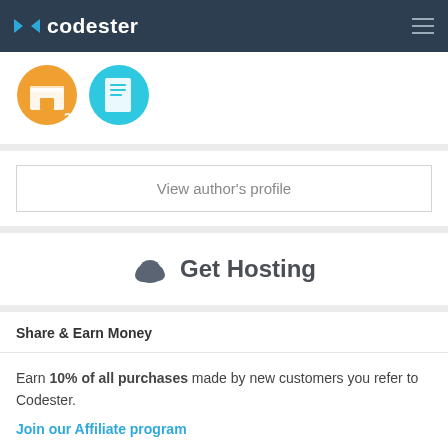codester
[Figure (illustration): Two circular icons: an orange marketplace/shop icon with subscript 2, and a cyan/blue document icon]
View author's profile
Get Hosting
Share & Earn Money
Earn 10% of all purchases made by new customers you refer to Codester.
Join our Affiliate program
Facebook
Twitter